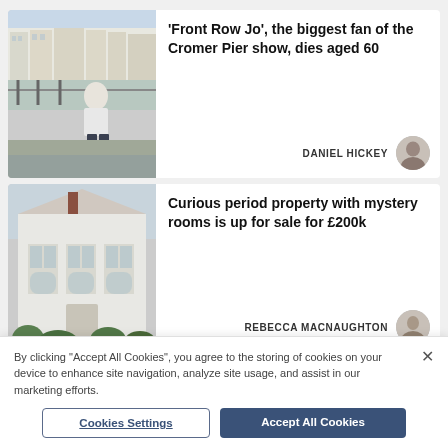[Figure (photo): Person standing on Cromer Pier with seaside town buildings in background]
'Front Row Jo', the biggest fan of the Cromer Pier show, dies aged 60
DANIEL HICKEY
[Figure (photo): White Victorian period property exterior with bay windows and overgrown garden]
Curious period property with mystery rooms is up for sale for £200k
REBECCA MACNAUGHTON
By clicking "Accept All Cookies", you agree to the storing of cookies on your device to enhance site navigation, analyze site usage, and assist in our marketing efforts.
Cookies Settings
Accept All Cookies